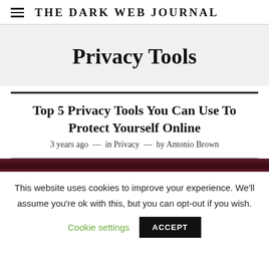THE DARK WEB JOURNAL
Privacy Tools
Top 5 Privacy Tools You Can Use To Protect Yourself Online
3 years ago — in Privacy — by Antonio Brown
This website uses cookies to improve your experience. We'll assume you're ok with this, but you can opt-out if you wish.
Cookie settings   ACCEPT